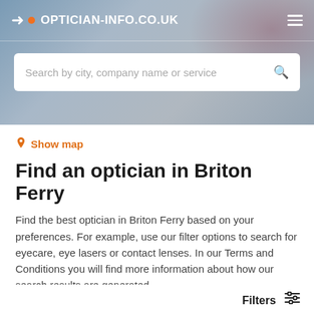OPTICIAN-INFO.CO.UK
[Figure (screenshot): Website screenshot of optician-info.co.uk showing a search interface with a hero banner image of glasses/eyewear, a search bar, and a content card for finding opticians in Briton Ferry.]
Show map
Find an optician in Briton Ferry
Find the best optician in Briton Ferry based on your preferences. For example, use our filter options to search for eyecare, eye lasers or contact lenses. In our Terms and Conditions you will find more information about how our search results are generated.
Filters